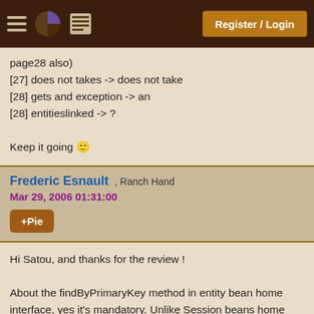Register / Login
page28 also)
[27] does not takes -> does not take
[28] gets and exception -> an
[28] entitieslinked -> ?

Keep it going 🙂
Frederic Esnault , Ranch Hand
Mar 29, 2006 01:31:00
+Pie
Hi Satou, and thanks for the review !

About the findByPrimaryKey method in entity bean home interface, yes it's mandatory. Unlike Session beans home int., where at least one create method must be declared, the EB home interface :
- is not required to declare create method(s), but may do so;